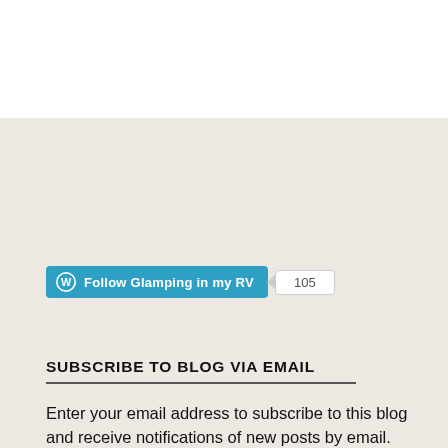[Figure (other): White rectangular area at top of page (partial page/banner)]
[Figure (other): WordPress Follow button with blue background showing 'Follow Glamping in my RV' and follower count badge showing 105]
SUBSCRIBE TO BLOG VIA EMAIL
Enter your email address to subscribe to this blog and receive notifications of new posts by email.
Advertisements
[Figure (other): WordPress VIP advertisement banner with map imagery and 'Learn more' call to action button]